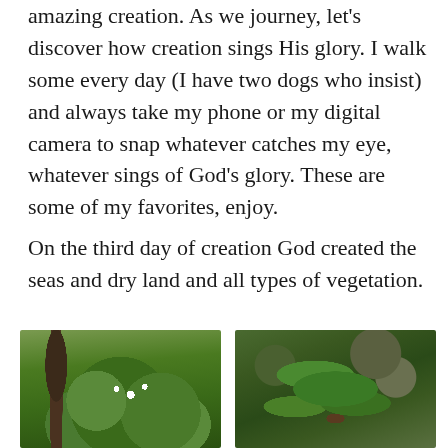amazing creation. As we journey, let's discover how creation sings His glory. I walk some every day (I have two dogs who insist) and always take my phone or my digital camera to snap whatever catches my eye, whatever sings of God's glory. These are some of my favorites, enjoy.
On the third day of creation God created the seas and dry land and all types of vegetation.
[Figure (photo): A flowering shrub with small white flowers among green leaves, with a tree trunk visible on the left, in a natural woodland setting.]
[Figure (photo): Close-up of large broad green leaves of a rhododendron or similar shrub, with woodland trees visible in the background.]